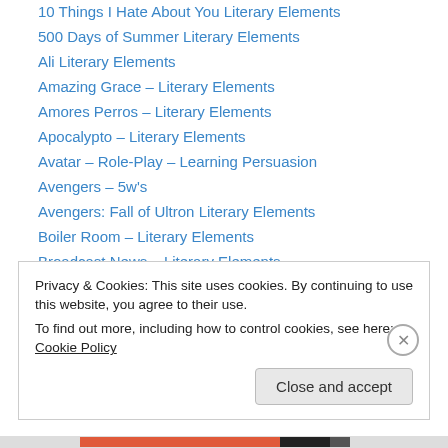10 Things I Hate About You Literary Elements
500 Days of Summer Literary Elements
Ali Literary Elements
Amazing Grace – Literary Elements
Amores Perros – Literary Elements
Apocalypto – Literary Elements
Avatar – Role-Play – Learning Persuasion
Avengers – 5w's
Avengers: Fall of Ultron Literary Elements
Boiler Room – Literary Elements
Broadcast News – Literary Elements
Captain America – 5 W's
Celebrity Apprentice – Managing Your Boss
Compare and Contrast Flea and Pocahontas
Privacy & Cookies: This site uses cookies. By continuing to use this website, you agree to their use. To find out more, including how to control cookies, see here: Cookie Policy
Close and accept